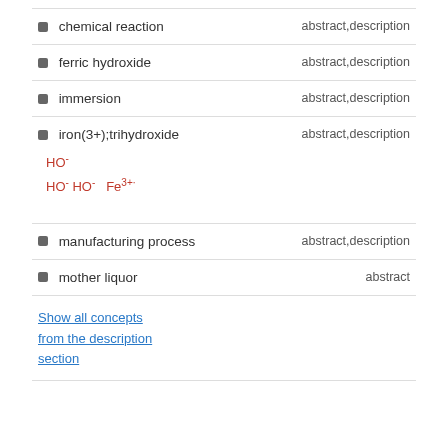chemical reaction
ferric hydroxide
immersion
iron(3+);trihydroxide
[Figure (other): Chemical structure showing HO- groups and HO- HO- Fe3+. formula display]
manufacturing process
mother liquor
Show all concepts from the description section